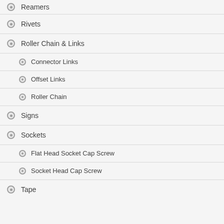Reamers
Rivets
Roller Chain & Links
Connector Links
Offset Links
Roller Chain
Signs
Sockets
Flat Head Socket Cap Screw
Socket Head Cap Screw
Tape